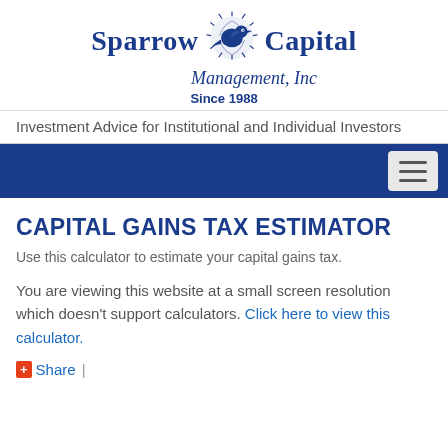[Figure (logo): Sparrow Capital Management, Inc logo with bird illustration, text 'Sparrow Capital Management, Inc' and 'Since 1988']
Investment Advice for Institutional and Individual Investors
CAPITAL GAINS TAX ESTIMATOR
Use this calculator to estimate your capital gains tax.
You are viewing this website at a small screen resolution which doesn't support calculators. Click here to view this calculator.
Share |